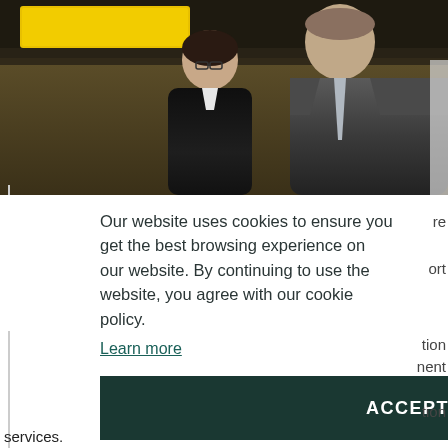[Figure (photo): Two business professionals in formal attire (woman in black suit with glasses, man in grey suit) at what appears to be an airport, with a yellow sign visible in the background.]
Our website uses cookies to ensure you get the best browsing experience on our website. By continuing to use the website, you agree with our cookie policy.
Learn more
ACCEPT ALL COOKIES
services.